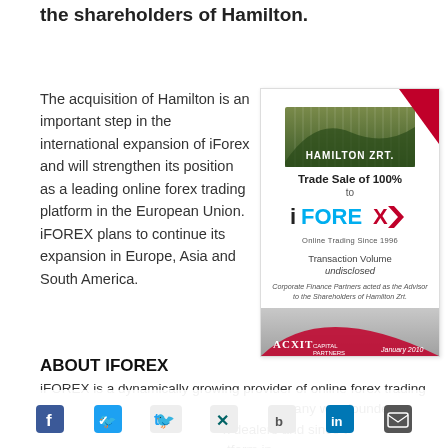the shareholders of Hamilton.
The acquisition of Hamilton is an important step in the international expansion of iForex and will strengthen its position as a leading online forex trading platform in the European Union. iFOREX plans to continue its expansion in Europe, Asia and South America.
[Figure (other): Tombstone deal card: Hamilton Zrt. Trade Sale of 100% to iFOREX Online Trading Since 1996. Transaction Volume undisclosed. Corporate Finance Partners acted as the Advisor to the Shareholders of Hamilton Zrt. ACXIT Capital Partners, January 2010.]
ABOUT IFOREX
iFOREX is a dynamically growing provider of online forex trading ser... ompany was founde... x dealers and since t... atform in